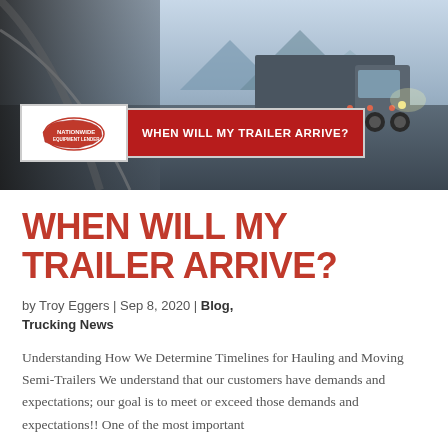[Figure (photo): Hero image of a semi-truck driving on a highway, viewed from inside a vehicle, with a Nationwide Equipment Lender Inc. logo and a dark red banner reading 'WHEN WILL MY TRAILER ARRIVE?']
WHEN WILL MY TRAILER ARRIVE?
by Troy Eggers | Sep 8, 2020 | Blog, Trucking News
Understanding How We Determine Timelines for Hauling and Moving Semi-Trailers We understand that our customers have demands and expectations; our goal is to meet or exceed those demands and expectations!! One of the most important